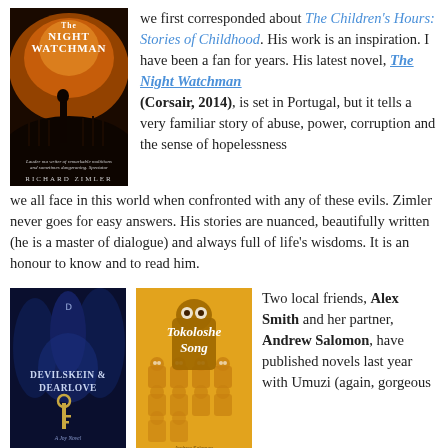[Figure (illustration): Book cover of 'The Night Watchman' by Richard Zimler (Corsair, 2014) showing a dark atmospheric scene]
we first corresponded about The Children's Hours: Stories of Childhood. His work is an inspiration. I have been a fan for years. His latest novel, The Night Watchman (Corsair, 2014), is set in Portugal, but it tells a very familiar story of abuse, power, corruption and the sense of hopelessness we all face in this world when confronted with any of these evils. Zimler never goes for easy answers. His stories are nuanced, beautifully written (he is a master of dialogue) and always full of life's wisdoms. It is an honour to know and to read him.
[Figure (illustration): Book cover of 'Devilskein & Dearlove' — dark blue cover with a key illustration]
[Figure (illustration): Book cover of 'Tokoloshe Song' — yellow/orange cover with owl-like figures]
Two local friends, Alex Smith and her partner, Andrew Salomon, have published novels last year with Umuzi (again, gorgeous